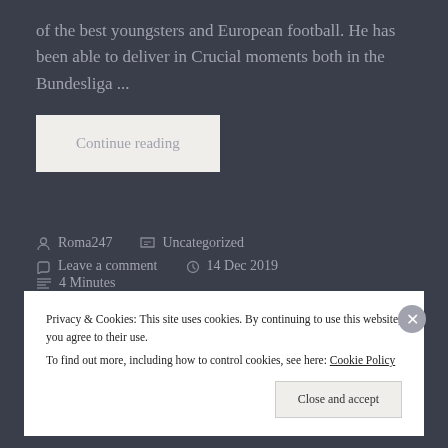of the best youngsters and European football. He has been able to deliver in Crucial moments both in the Bundesliga ...
Continue reading
Roma247   Uncategorized
Leave a comment   14 Dec 2019   4 Minutes
Privacy & Cookies: This site uses cookies. By continuing to use this website, you agree to their use.
To find out more, including how to control cookies, see here: Cookie Policy
Close and accept